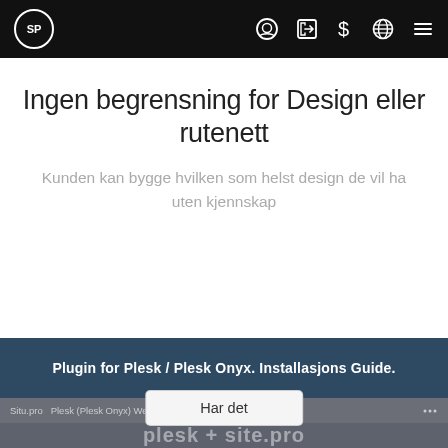SP [nav icons]
Ingen begrensning for Design eller rutenett
Kunden kan bygge hvilken som helst design de vil ha uten kjennskap
Plugin for Plesk / Plesk Onyx. Installasjons Guide.
Vi bruker informasjonskapsler (og samle inn visse personlige opplysninger) for å gi deg en bedre online opplevelse. Ved å besøke nettstedet du vårt godtar vilkårene våre.
Har det
Situ.pro  Plesk (Plesk Onyx) Website Builder – Si...  plesk + site.pro